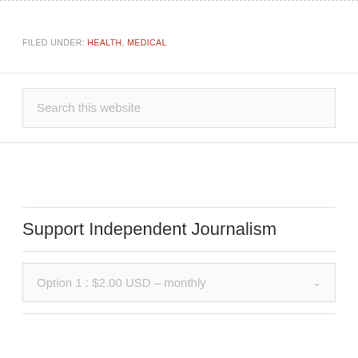FILED UNDER: HEALTH, MEDICAL
Search this website
Support Independent Journalism
Option 1 : $2.00 USD – monthly